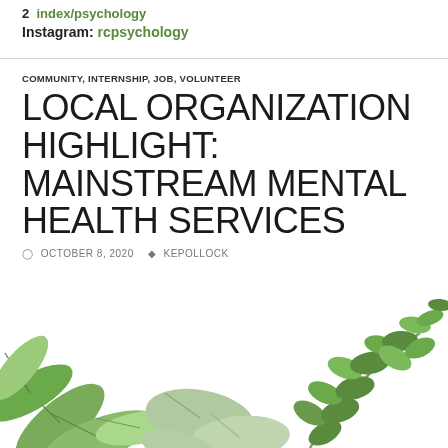2  index/psychology
Instagram: rcpsychology
COMMUNITY, INTERNSHIP, JOB, VOLUNTEER
LOCAL ORGANIZATION HIGHLIGHT: MAINSTREAM MENTAL HEALTH SERVICES
OCTOBER 8, 2020   KEPOLLOCK
[Figure (photo): Decorative photo of green leaves and botanical branches on a white background]